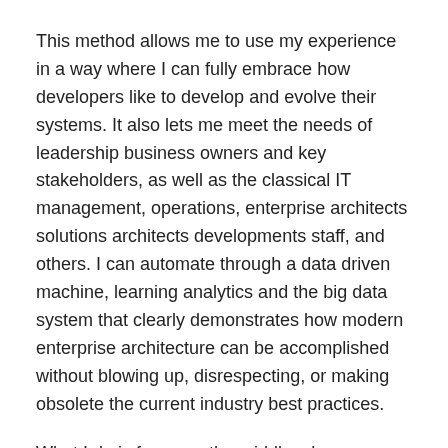This method allows me to use my experience in a way where I can fully embrace how developers like to develop and evolve their systems. It also lets me meet the needs of leadership business owners and key stakeholders, as well as the classical IT management, operations, enterprise architects solutions architects developments staff, and others. I can automate through a data driven machine, learning analytics and the big data system that clearly demonstrates how modern enterprise architecture can be accomplished without blowing up, disrespecting, or making obsolete the current industry best practices.
What I do is focus on the middle: change, working with the process owners in the narrative, visuals, and data, and collaborating with stakeholders on the tasks of explaining, engaging, and helping enlighten all stakeholders.